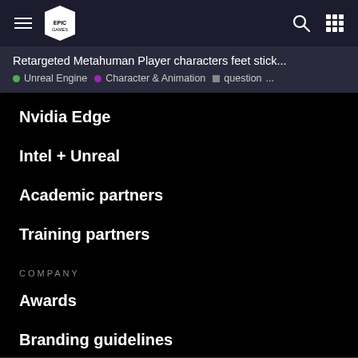Epic Games navigation bar with hamburger menu, Epic Games logo, search icon, and grid icon
Retargeted Metahuman Player characters feet stick... • Unreal Engine • Character & Animation ▪ question ...
Nvidia Edge
Intel + Unreal
Academic partners
Training partners
COMPANY
Awards
Branding guidelines